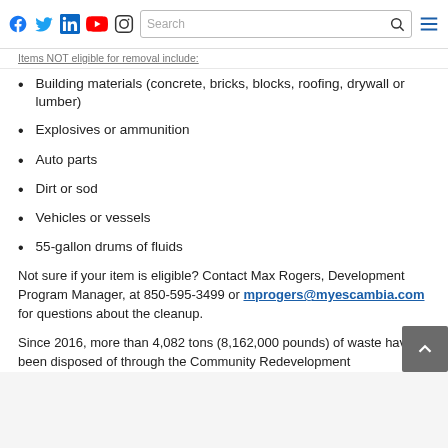Social media icons (Facebook, Twitter, LinkedIn, YouTube, Instagram) and Search bar with hamburger menu
Items NOT eligible for removal include:
Building materials (concrete, bricks, blocks, roofing, drywall or lumber)
Explosives or ammunition
Auto parts
Dirt or sod
Vehicles or vessels
55-gallon drums of fluids
Not sure if your item is eligible? Contact Max Rogers, Development Program Manager, at 850-595-3499 or mprogers@myescambia.com for questions about the cleanup.
Since 2016, more than 4,082 tons (8,162,000 pounds) of waste have been disposed of through the Community Redevelopment